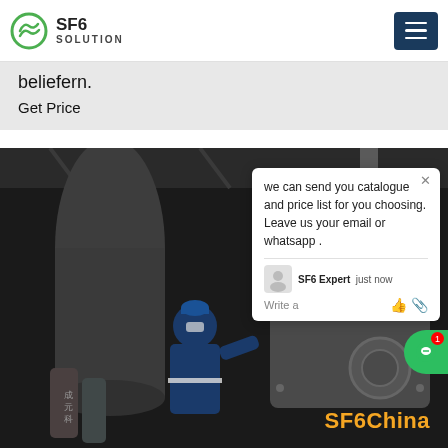SF6 SOLUTION
beliefern.
Get Price
[Figure (photo): Industrial photo showing a technician in blue overalls and hard hat working on large SF6 electrical equipment in a factory/substation setting. Gas cylinders with Chinese text visible on the left. SF6China watermark in orange at bottom right.]
we can send you catalogue and price list for you choosing.
Leave us your email or whatsapp .

SF6 Expert   just now
Write a